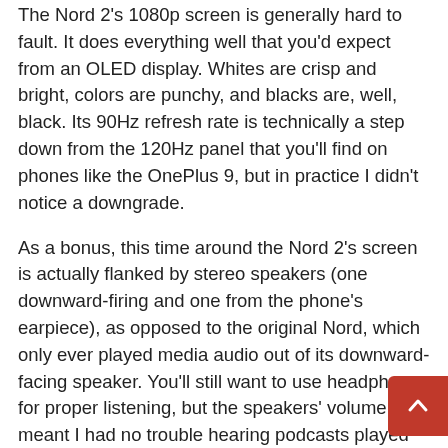The Nord 2's 1080p screen is generally hard to fault. It does everything well that you'd expect from an OLED display. Whites are crisp and bright, colors are punchy, and blacks are, well, black. Its 90Hz refresh rate is technically a step down from the 120Hz panel that you'll find on phones like the OnePlus 9, but in practice I didn't notice a downgrade.
As a bonus, this time around the Nord 2's screen is actually flanked by stereo speakers (one downward-firing and one from the phone's earpiece), as opposed to the original Nord, which only ever played media audio out of its downward-facing speaker. You'll still want to use headphones for proper listening, but the speakers' volume meant I had no trouble hearing podcasts played out of the phone's speakers while cooking.
I got a little under five hours of screen-on time out of the Nord 2's 4,500mAh battery, easily enough to last through a full day with a little to spare. But I was more impressed by the inclusion of Warp Charge 65 fast-charging here. When charging from zero, I hit 89 percent after a half hour, and 99 percent after 35 minutes, which felt remarkably quick.